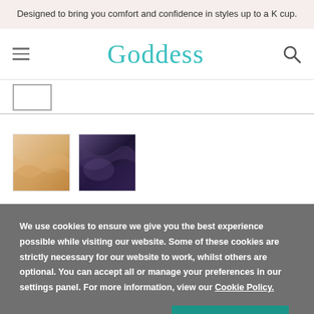Designed to bring you comfort and confidence in styles up to a K cup.
[Figure (logo): Goddess brand logo in teal/turquoise font with hamburger menu icon on the left and search icon on the right]
[Figure (photo): Two product thumbnail images: one beige/nude colored bra fabric close-up, one navy/dark purple bra fabric close-up]
We use cookies to ensure we give you the best experience possible while visiting our website. Some of these cookies are strictly necessary for our website to work, whilst others are optional. You can accept all or manage your preferences in our settings panel. For more information, view our Cookie Policy.
Manage Cookies
ACCEPT ALL